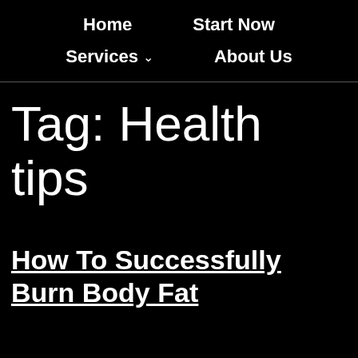Home   Start Now
Services ∨   About Us
Tag: Health tips
How To Successfully Burn Body Fat